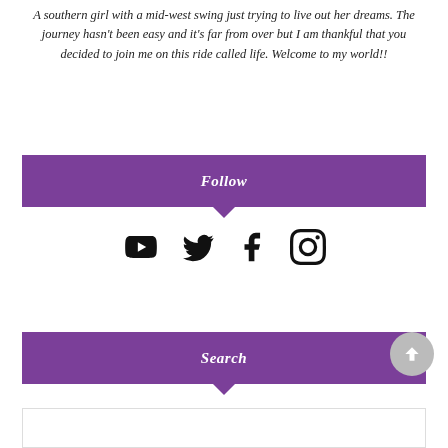A southern girl with a mid-west swing just trying to live out her dreams. The journey hasn't been easy and it's far from over but I am thankful that you decided to join me on this ride called life. Welcome to my world!!
Follow
[Figure (infographic): Four social media icons: YouTube, Twitter, Facebook, Instagram]
Search